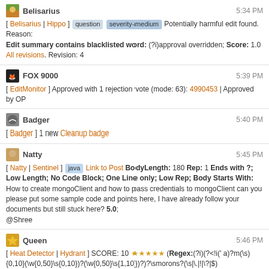Belisarius 5:34 PM [ Belisarius | Hippo ] question severity-medium Potentially harmful edit found. Reason: Edit summary contains blacklisted word: (?i)approval overridden; Score: 1.0 All revisions. Revision: 4
FOX 9000 5:39 PM [ EditMonitor ] Approved with 1 rejection vote (mode: 63): 4990453 | Approved by OP
Badger 5:40 PM [ Badger ] 1 new Cleanup badge
Natty 5:45 PM [ Natty | Sentinel ] java Link to Post BodyLength: 180 Rep: 1 Ends with ?; Low Length; No Code Block; One Line only; Low Rep; Body Starts With: How to create mongoClient and how to pass credentials to mongoClient can you please put some sample code and points here, I have already follow your documents but still stuck here? 5.0; @Shree
Queen 5:46 PM [ Heat Detector | Hydrant ] SCORE: 10 ★★★★★ (Regex:(?i)(?<!i(' a)?m(\s){0,10}(\w{0,50}\s{0,10})?(\w{0,50}\s{1,10})?)\smorons?(\s|\.|!|\?|$) NaiveBayes:1.00 OpenNLP:0.97 Perspective:0.81) comment cc: @Shree [ Heat Detector | Hydrant ] SCORE: 8 ★★★★☆ (Regex:(?i)\bshit NaiveBayes:1.00 OpenNLP:0.94 Perspective:0.94) comment cc: @Shree
Belisarius 5:56 PM [ Belisarius | Hippo ] question severity-medium Potentially harmful edit found. Reason: Body contains blacklisted word: (?i)fixed -; Score: 1.0 All revisions. Revision: 2